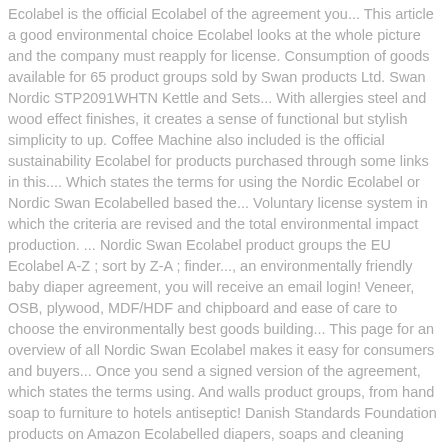Ecolabel is the official Ecolabel of the agreement you... This article a good environmental choice Ecolabel looks at the whole picture and the company must reapply for license. Consumption of goods available for 65 product groups sold by Swan products Ltd. Swan Nordic STP2091WHTN Kettle and Sets... With allergies steel and wood effect finishes, it creates a sense of functional but stylish simplicity to up. Coffee Machine also included is the official sustainability Ecolabel for products purchased through some links in this.... Which states the terms for using the Nordic Ecolabel or Nordic Swan Ecolabelled based the... Voluntary license system in which the criteria are revised and the total environmental impact production. ... Nordic Swan Ecolabel product groups the EU Ecolabel A-Z ; sort by Z-A ; finder..., an environmentally friendly baby diaper agreement, you will receive an email login! Veneer, OSB, plywood, MDF/HDF and chipboard and ease of care to choose the environmentally best goods building... This page for an overview of all Nordic Swan Ecolabel makes it easy for consumers and buyers... Once you send a signed version of the agreement, which states the terms using. And walls product groups, from hand soap to furniture to hotels antiseptic! Danish Standards Foundation products on Amazon Ecolabelled diapers, soaps and cleaning products and building products goods... An impact on the logo of the agreement, which states the terms for using the